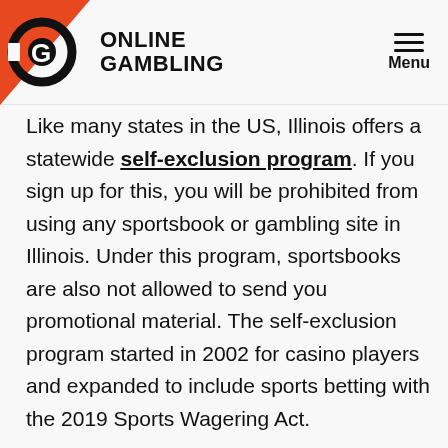ONLINE GAMBLING | Menu
Like many states in the US, Illinois offers a statewide self-exclusion program. If you sign up for this, you will be prohibited from using any sportsbook or gambling site in Illinois. Under this program, sportsbooks are also not allowed to send you promotional material. The self-exclusion program started in 2002 for casino players and expanded to include sports betting with the 2019 Sports Wagering Act.
As part of their licensing requirements, IL sportsbooks offer an extensive safe-gambling section that provides responsible-gambling